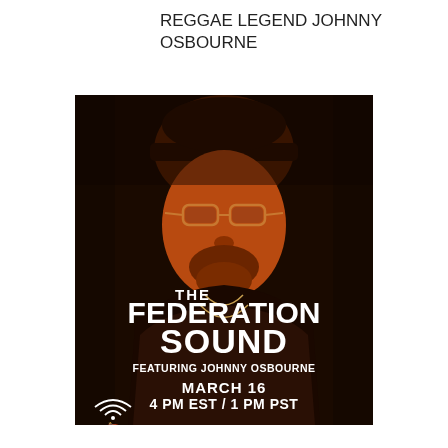REGGAE LEGEND JOHNNY OSBOURNE
[Figure (illustration): Promotional poster for The Federation Sound featuring Johnny Osbourne. Dark orange/brown toned photo of Johnny Osbourne (older man with hat and glasses) in background. Text overlay reads: THE FEDERATION SOUND, FEATURING JOHNNY OSBOURNE, MARCH 16, 4 PM EST / 1 PM PST. Bottom left: RBMA Radio NYC logo with wifi/radio icon and bull logo. Bottom right: @RBMARADIO, LIVE.RBMARADIO.COM]